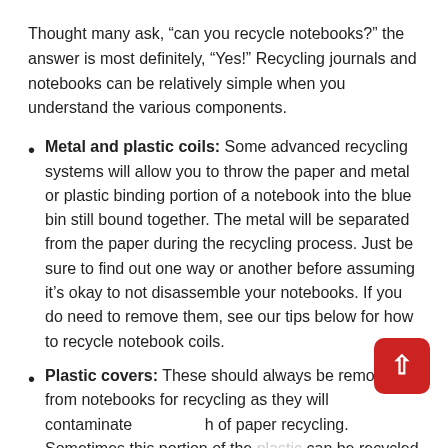Thought many ask, “can you recycle notebooks?” the answer is most definitely, “Yes!” Recycling journals and notebooks can be relatively simple when you understand the various components.
Metal and plastic coils: Some advanced recycling systems will allow you to throw the paper and metal or plastic binding portion of a notebook into the blue bin still bound together. The metal will be separated from the paper during the recycling process. Just be sure to find out one way or another before assuming it’s okay to not disassemble your notebooks. If you do need to remove them, see our tips below for how to recycle notebook coils.
Plastic covers: These should always be removed from notebooks for recycling as they will contaminate the batch of paper recycling. Sometimes this portion of the plastic can be recycled separately, but you should ask your